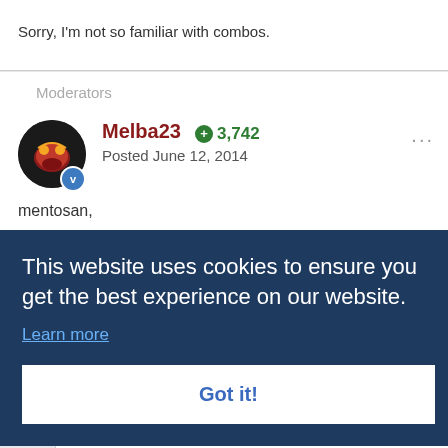Sorry, I'm not so familiar with combos.
Moderators
Melba23  + 3,742
Posted June 12, 2014
mentosan,
mple of
This website uses cookies to ensure you get the best experience on our website.
Learn more
Got it!
popup
GUICtrlCreateLabel("SSID:", 10, 10, 200, 20)
$cCombo_SSID = GUICtrlCreateCombo("", 10, 30, 200,